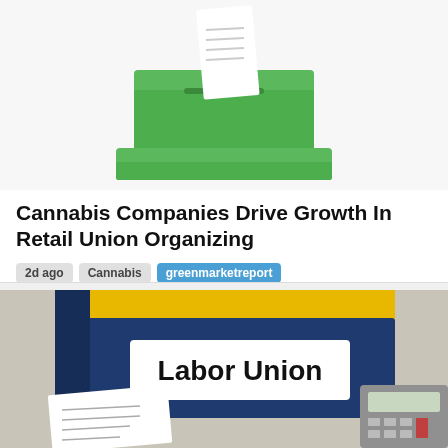[Figure (illustration): A green ballot/voting box with a white ballot paper being inserted into the slot on top, against a white background.]
Cannabis Companies Drive Growth In Retail Union Organizing
2d ago  Cannabis  greenmarketreport
[Figure (illustration): A dark navy blue binder/folder labeled 'Labor Union' in black text on a white label, with a yellow spine at top, sitting on a desk next to an open book with lorem ipsum text and a calculator, on a gray surface.]